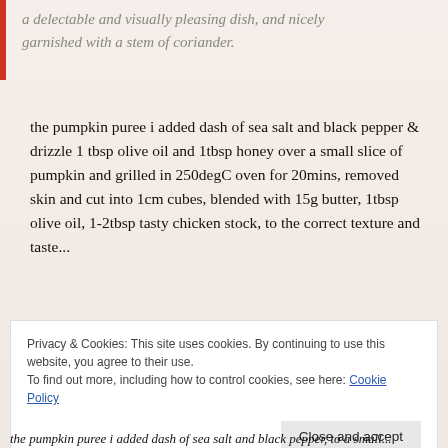a delectable and visually pleasing dish, and nicely garnished with a stem of coriander.
the pumpkin puree i added dash of sea salt and black pepper & drizzle 1 tbsp olive oil and 1tbsp honey over a small slice of pumpkin and grilled in 250degC oven for 20mins, removed skin and cut into 1cm cubes, blended with 15g butter, 1tbsp olive oil, 1-2tbsp tasty chicken stock, to the correct texture and taste...
Privacy & Cookies: This site uses cookies. By continuing to use this website, you agree to their use.
To find out more, including how to control cookies, see here: Cookie Policy
Close and accept
the pumpkin puree i added dash of sea salt and black pepper, to a small...